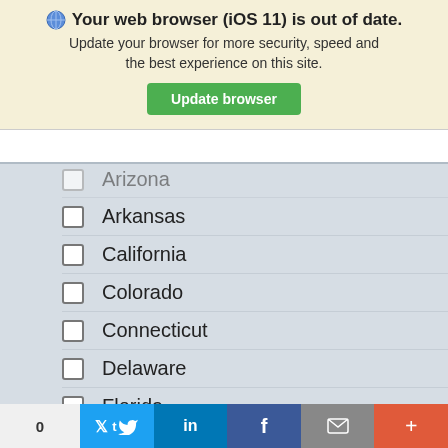Your web browser (iOS 11) is out of date. Update your browser for more security, speed and the best experience on this site. Update browser
Arizona
Arkansas
California
Colorado
Connecticut
Delaware
Florida
Georgia
Hawaii
Idaho
0  Twitter  in  f  mail  +